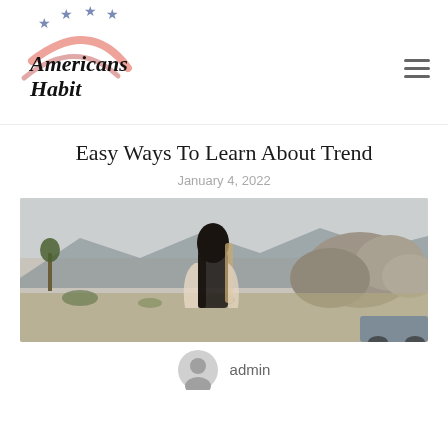[Figure (logo): Americans Habit logo with stars and swoosh]
Easy Ways To Learn About Trend
January 4, 2022
[Figure (photo): Woman with long dark hair standing in a desert rocky landscape]
admin